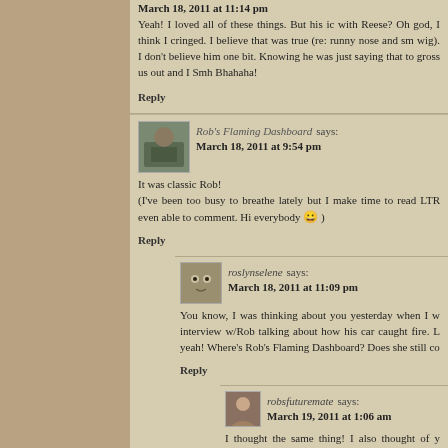March 18, 2011 at 11:14 pm
Yeah! I loved all of these things. But his ice with Reese? Oh god, I think I cringed. I believe that was true (re: runny nose and sm wig). I don't believe him one bit. Knowing he was just saying that to gross us out and I Smh Bhahaha!
Reply
[Figure (photo): Avatar image of Rob's Flaming Dashboard user - person visible through car window]
Rob's Flaming Dashboard says:
March 18, 2011 at 9:54 pm
It was classic Rob!
(I've been too busy to breathe lately but I make time to read LTR even able to comment. Hi everybody 😀 )
Reply
[Figure (photo): Avatar image of roslynselene - owl bird photo]
roslynselene says:
March 18, 2011 at 11:09 pm
You know, I was thinking about you yesterday when I w interview w/Rob talking about how his car caught fire. L yeah! Where's Rob's Flaming Dashboard? Does she still co
Reply
[Figure (photo): Avatar image of robsfuturemate user]
robsfuturemate says:
March 19, 2011 at 1:06 am
I thought the same thing! I also thought of y when we were discussing initials on LTR